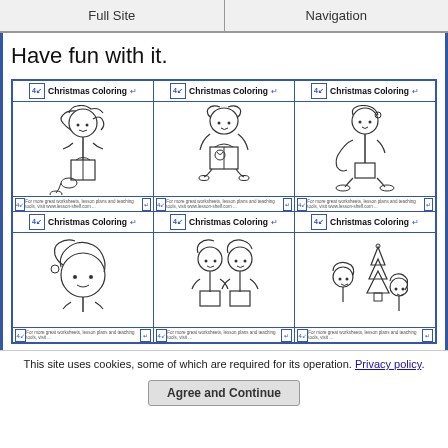Full Site | Navigation
Have fun with it.
[Figure (illustration): Grid of 6 Christmas Coloring page thumbnails showing cartoon elf characters in various poses — sitting with gifts, holding candy canes, standing, two elves together, and elves with a Christmas tree]
This site uses cookies, some of which are required for its operation. Privacy policy.
Agree and Continue